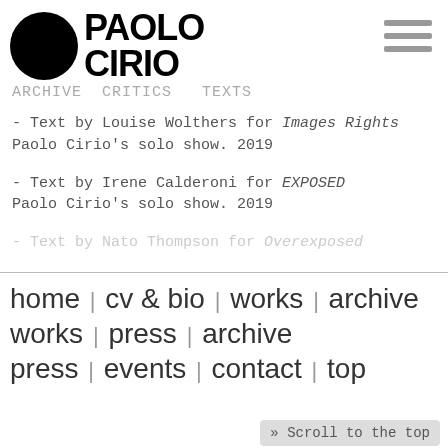[Figure (logo): Paolo Cirio logo with black circle and bold uppercase text PAOLO CIRIO]
Archive Critics Texts
- Text by Louise Wolthers for Images Rights Paolo Cirio's solo show. 2019
- Text by Irene Calderoni for EXPOSED Paolo Cirio's solo show. 2019
- Text by Nato Thompson for Overexposed
home | cv & bio | works | archive works | press | archive press | events | contact | top